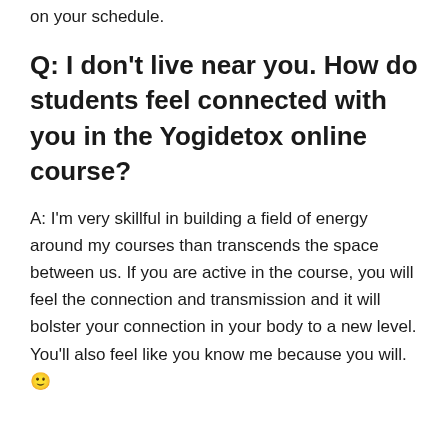on your schedule.
Q: I don't live near you. How do students feel connected with you in the Yogidetox online course?
A: I'm very skillful in building a field of energy around my courses than transcends the space between us. If you are active in the course, you will feel the connection and transmission and it will bolster your connection in your body to a new level. You'll also feel like you know me because you will. 🙂